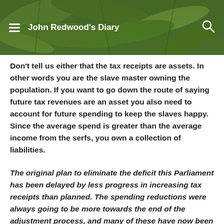John Redwood's Diary
Don't tell us either that the tax receipts are assets. In other words you are the slave master owning the population. If you want to go down the route of saying future tax revenues are an asset you also need to account for future spending to keep the slaves happy. Since the average spend is greater than the average income from the serfs, you own a collection of liabilities.
The original plan to eliminate the deficit this Parliament has been delayed by less progress in increasing tax receipts than planned. The spending reductions were always going to be more towards the end of the adjustment process, and many of these have now been delayed until the next Parliament.